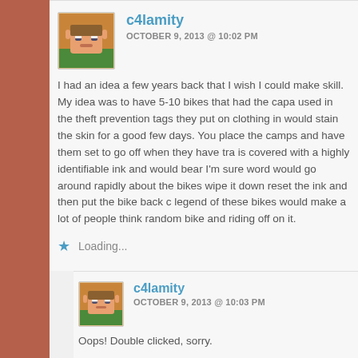c4lamity
OCTOBER 9, 2013 @ 10:02 PM
I had an idea a few years back that I wish I could make skill. My idea was to have 5-10 bikes that had the capa used in the theft prevention tags they put on clothing in would stain the skin for a good few days. You place the camps and have them set to go off when they have tra is covered with a highly identifiable ink and would bear I'm sure word would go around rapidly about the bikes wipe it down reset the ink and then put the bike back c legend of these bikes would make a lot of people think random bike and riding off on it.
Loading...
c4lamity
OCTOBER 9, 2013 @ 10:03 PM
Oops! Double clicked, sorry.
Loading...